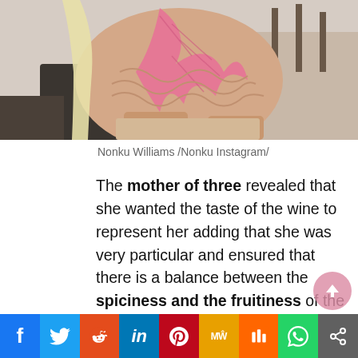[Figure (photo): Partial photo of a woman wearing a pink feathered/crocheted outfit, cropped at torso level, sitting with a bar/restaurant background.]
Nonku Williams /Nonku Instagram/
The mother of three revealed that she wanted the taste of the wine to represent her adding that she was very particular and ensured that there is a balance between the spiciness and the fruitiness of the wines.
Her new sommelier Bodibe Sebolai from Bodibe Wine show ever describes the wines as spicy and says they pair well with hearty meals.
f  Twitter  Reddit  in  Pinterest  MW  Mix  WhatsApp  Share